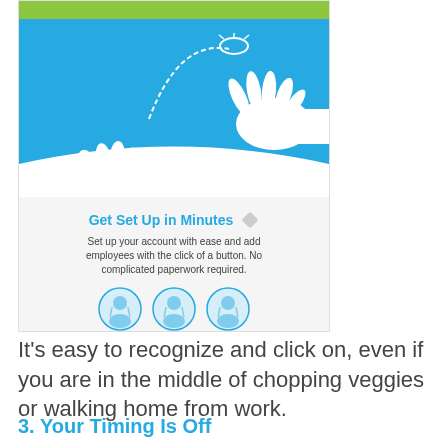[Figure (screenshot): Screenshot of a web application showing a blue section with two hands tossing a coin, a green bar at the top, and a white panel below with 'Get Set Up in Minutes' heading, descriptive text, and three avatar icons.]
It’s easy to recognize and click on, even if you are in the middle of chopping veggies or walking home from work.
3. Your Timing Is Off